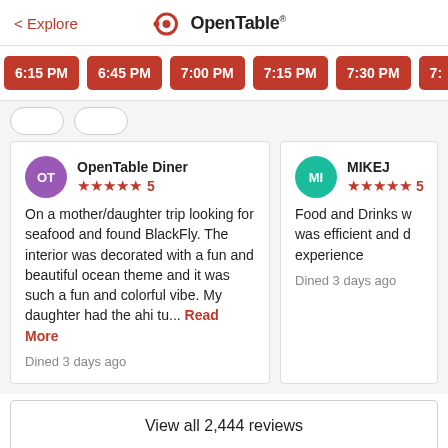< Explore   OpenTable
6:15 PM
6:45 PM
7:00 PM
7:15 PM
7:30 PM
7:...
OpenTable Diner ★★★★★ 5
On a mother/daughter trip looking for seafood and found BlackFly. The interior was decorated with a fun and beautiful ocean theme and it was such a fun and colorful vibe. My daughter had the ahi tu... Read More
Dined 3 days ago
MIKEJ ★★★★★ 5
Food and Drinks w... was efficient and d... experience
Dined 3 days ago
View all 2,444 reviews